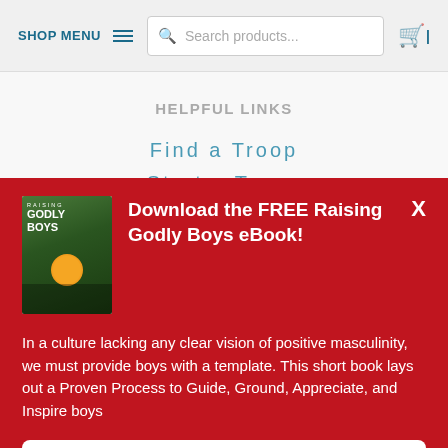SHOP MENU  🔍 Search products...  🛒
HELPFUL LINKS
Find a Troop
Start a Troop
[Figure (screenshot): Red popup banner with book cover image of 'Raising Godly Boys' and close button X]
Download the FREE Raising Godly Boys eBook!
In a culture lacking any clear vision of positive masculinity, we must provide boys with a template. This short book lays out a Proven Process to Guide, Ground, Appreciate, and Inspire boys
Get Your Copy!